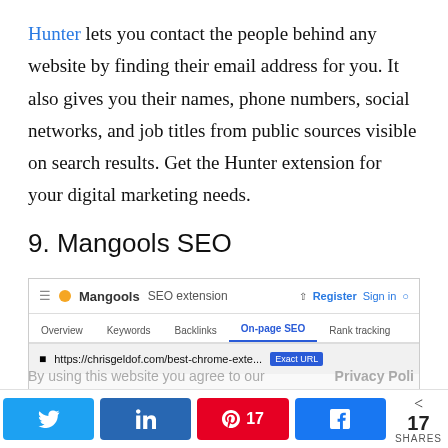Hunter lets you contact the people behind any website by finding their email address for you. It also gives you their names, phone numbers, social networks, and job titles from public sources visible on search results. Get the Hunter extension for your digital marketing needs.
9. Mangools SEO
[Figure (screenshot): Screenshot of the Mangools SEO extension interface showing navigation tabs: Overview, Keywords, Backlinks, On-page SEO (active), Rank tracking. URL bar shows https://chrisgeldof.com/best-chrome-exte... with Exact URL badge. Register and Sign in buttons visible.]
By using this website you agree to our Privacy Poli...
Twitter share button
LinkedIn share button
Pinterest share button with count 17
Facebook share button
< 17 SHARES